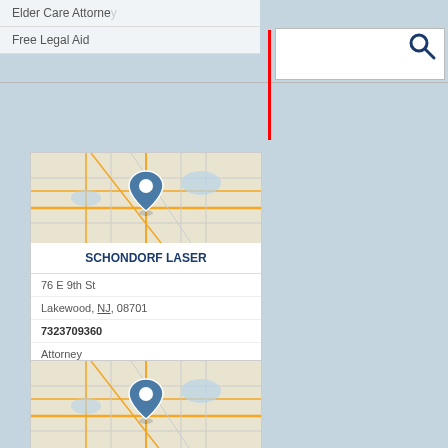Elder Care Attorney
Free Legal Aid
[Figure (screenshot): Search input box with magnifying glass icon and red cursor bar]
[Figure (map): Map showing location pin for Schondorf Laser in Lakewood NJ area]
SCHONDORF LASER
76 E 9th St
Lakewood, NJ, 08701
7323709360
Attorney
Attorneys
Attys
Elder Care Attorney
Law Firms
[Figure (map): Map showing location pin for Schondorf Laser second listing]
SCHONDORF LASER
9 Blue Jay Way